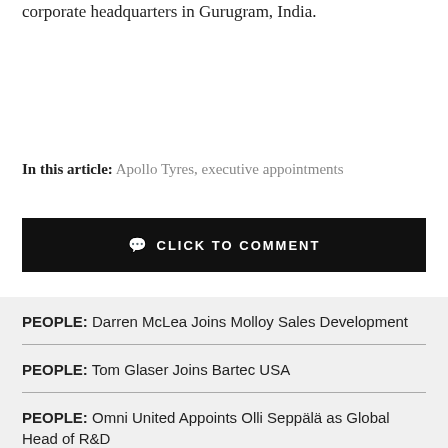corporate headquarters in Gurugram, India.
In this article: Apollo Tyres, executive appointments
CLICK TO COMMENT
PEOPLE: Darren McLea Joins Molloy Sales Development
PEOPLE: Tom Glaser Joins Bartec USA
PEOPLE: Omni United Appoints Olli Seppälä as Global Head of R&D